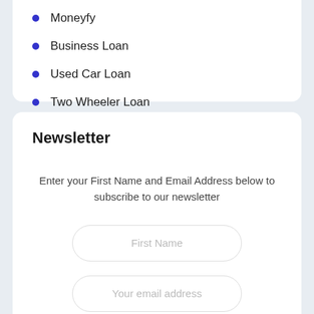Moneyfy
Business Loan
Used Car Loan
Two Wheeler Loan
Newsletter
Enter your First Name and Email Address below to subscribe to our newsletter
First Name
Your email address